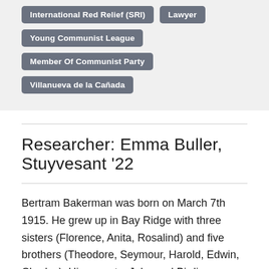International Red Relief (SRI)
Lawyer
Young Communist League
Member Of Communist Party
Villanueva de la Cañada
Researcher: Emma Buller, Stuyvesant '22
Bertram Bakerman was born on March 7th 1915. He grew up in Bay Ridge with three sisters (Florence, Anita, Rosalind) and five brothers (Theodore, Seymour, Harold, Edwin, Charles). His parents, John and Birdie, were Jewish immigrants from Russia and they probably immigrated due to the oppression Jewish people faced in